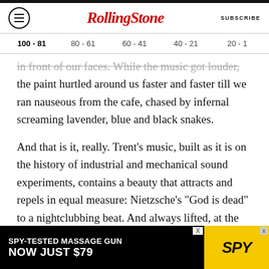Rolling Stone
100 - 81  80 - 61  60 - 41  40 - 21  20 - 1
in front of our faces. While the music got louder, the paint hurtled around us faster and faster till we ran nauseous from the cafe, chased by infernal screaming lavender, blue and black snakes.
And that is it, really. Trent's music, built as it is on the history of industrial and mechanical sound experiments, contains a beauty that attracts and repels in equal measure: Nietzsche's "God is dead" to a nightclubbing beat. And always lifted, at the most needy moment, by a tantalizing
[Figure (screenshot): SPY-TESTED MASSAGE GUN advertisement banner: NOW JUST $79 with SPY logo on yellow background]